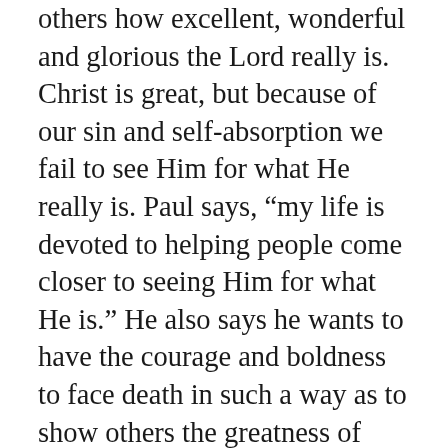others how excellent, wonderful and glorious the Lord really is. Christ is great, but because of our sin and self-absorption we fail to see Him for what He really is. Paul says, “my life is devoted to helping people come closer to seeing Him for what He is.” He also says he wants to have the courage and boldness to face death in such a way as to show others the greatness of Jesus.
There are so many great applications of this. So much for us to learn if we only will. Paul is saying, “I don’t want to waste my life.” He is saying, “I don’t want to waste my imprisonment.”  He even says, “I don’t want to waste my